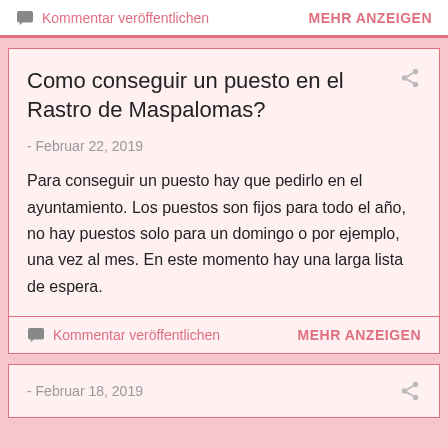Kommentar veröffentlichen   MEHR ANZEIGEN
Como conseguir un puesto en el Rastro de Maspalomas?
- Februar 22, 2019
Para conseguir un puesto hay que pedirlo en el ayuntamiento. Los puestos son fijos para todo el año, no hay puestos solo para un domingo o por ejemplo, una vez al mes. En este momento hay una larga lista de espera.
Kommentar veröffentlichen   MEHR ANZEIGEN
- Februar 18, 2019